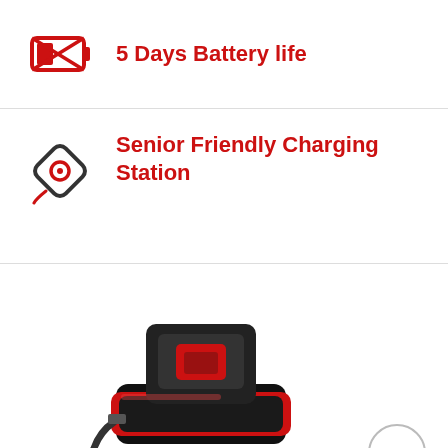[Figure (illustration): Red and black battery low icon]
5 Days Battery life
[Figure (illustration): Red and black charging station / wireless charger icon]
Senior Friendly Charging Station
[Figure (photo): Photo of a black and red GPS tracker device sitting on a charging dock with a USB cable connected]
Hi, I am here to assist